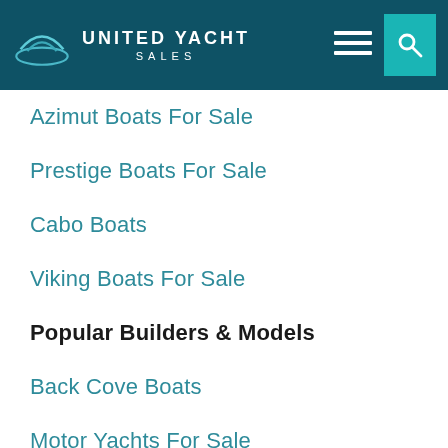UNITED YACHT SALES
Azimut Boats For Sale
Prestige Boats For Sale
Cabo Boats
Viking Boats For Sale
Popular Builders & Models
Back Cove Boats
Motor Yachts For Sale
40 Sundancer
Bavaria Sailboats For Sale
44 Sea Ray Sundancer For Sale